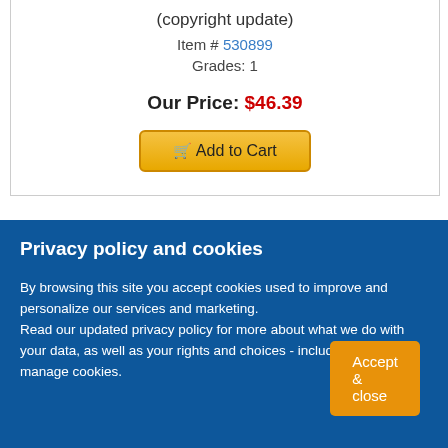(copyright update)
Item # 530899
Grades: 1
Our Price: $46.39
Add to Cart
Privacy policy and cookies
By browsing this site you accept cookies used to improve and personalize our services and marketing.
Read our updated privacy policy for more about what we do with your data, as well as your rights and choices - including how to manage cookies.
Accept & close